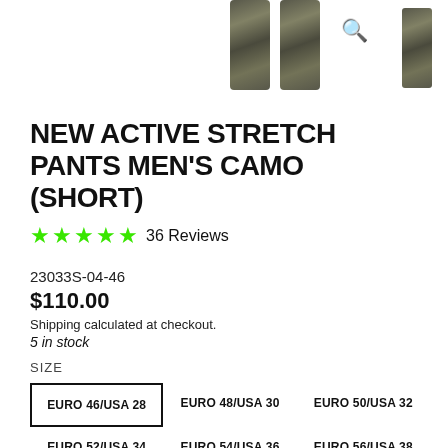[Figure (photo): Product images of camo stretch pants — two close-up shots of the pants legs in camouflage pattern and one small thumbnail, plus a search/magnify icon]
NEW ACTIVE STRETCH PANTS MEN'S CAMO (SHORT)
★★★★★ 36 Reviews
23033S-04-46
$110.00
Shipping calculated at checkout.
5 in stock
SIZE
EURO 46/USA 28  EURO 48/USA 30  EURO 50/USA 32  EURO 52/USA 34  EURO 54/USA 36  EURO 56/USA 38  EURO 58/USA 40  EURO 60/USA 42